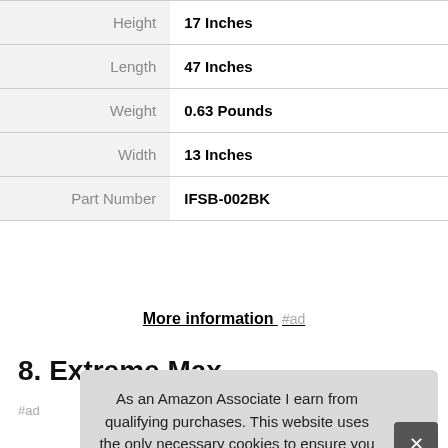| Attribute | Value |
| --- | --- |
| Height | 17 Inches |
| Length | 47 Inches |
| Weight | 0.63 Pounds |
| Width | 13 Inches |
| Part Number | IFSB-002BK |
More information #ad
8. Extreme Max
#ad
As an Amazon Associate I earn from qualifying purchases. This website uses the only necessary cookies to ensure you get the best experience on our website. More information